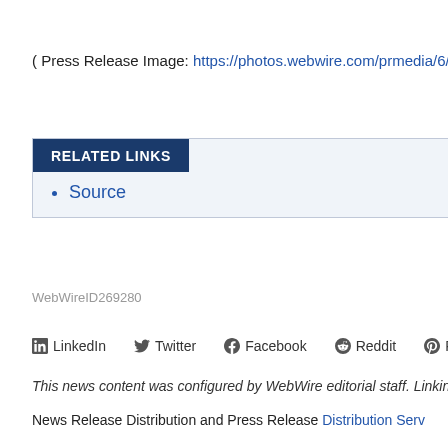( Press Release Image: https://photos.webwire.com/prmedia/6/...
RELATED LINKS
Source
WebWireID269280
in LinkedIn   Twitter   f Facebook   Reddit   Pinterest
This news content was configured by WebWire editorial staff. Linking i...
News Release Distribution and Press Release Distribution Serv...